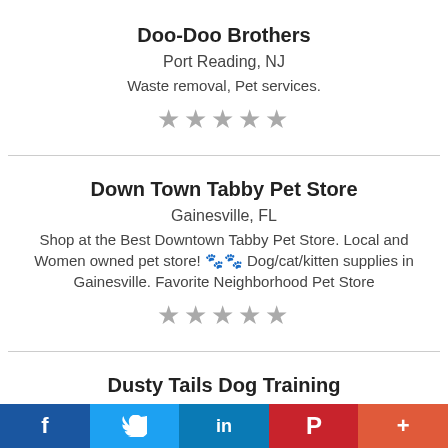Doo-Doo Brothers
Port Reading, NJ
Waste removal, Pet services.
[Figure (other): 5 empty stars rating]
Down Town Tabby Pet Store
Gainesville, FL
Shop at the Best Downtown Tabby Pet Store. Local and Women owned pet store! 🐾🐾 Dog/cat/kitten supplies in Gainesville. Favorite Neighborhood Pet Store
[Figure (other): 5 empty stars rating]
Dusty Tails Dog Training
Mojave, CA
Pet Services, Dog Training in Mojave, CA, A1ranking
f  Twitter  in  P  +